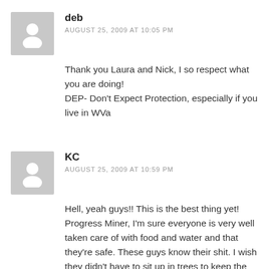deb
AUGUST 25, 2009 AT 10:05 PM
Thank you Laura and Nick, I so respect what you are doing!
DEP- Don't Expect Protection, especially if you live in WVa
KC
AUGUST 25, 2009 AT 10:59 PM
Hell, yeah guys!! This is the best thing yet! Progress Miner, I'm sure everyone is very well taken care of with food and water and that they're safe. These guys know their shit. I wish they didn't have to sit up in trees to keep the